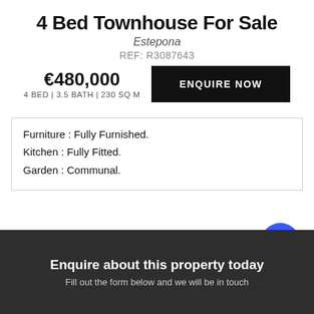4 Bed Townhouse For Sale
Estepona
REF: R3087643
€480,000
4 BED | 3.5 BATH | 230 SQ M
ENQUIRE NOW
Furniture : Fully Furnished.
Kitchen : Fully Fitted.
Garden : Communal.
Enquire about this property today
Fill out the form below and we will be in touch